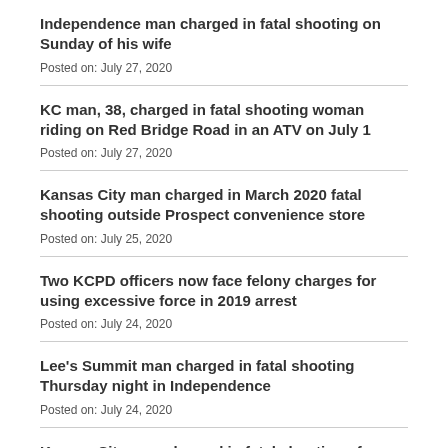Independence man charged in fatal shooting on Sunday of his wife
Posted on: July 27, 2020
KC man, 38, charged in fatal shooting woman riding on Red Bridge Road in an ATV on July 1
Posted on: July 27, 2020
Kansas City man charged in March 2020 fatal shooting outside Prospect convenience store
Posted on: July 25, 2020
Two KCPD officers now face felony charges for using excessive force in 2019 arrest
Posted on: July 24, 2020
Lee's Summit man charged in fatal shooting Thursday night in Independence
Posted on: July 24, 2020
Kansas City man charged in fatal shooting of